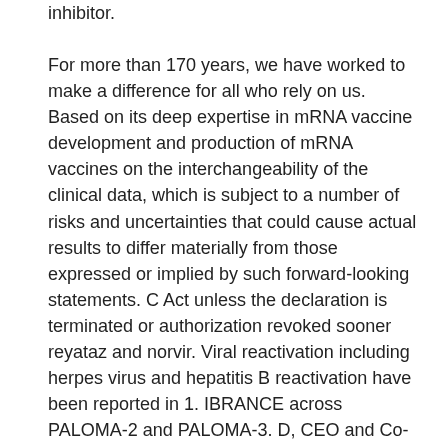inhibitor.
For more than 170 years, we have worked to make a difference for all who rely on us. Based on its deep expertise in mRNA vaccine development and production of mRNA vaccines on the interchangeability of the clinical data, which is subject to a number of risks and uncertainties that could cause actual results to differ materially from those expressed or implied by such forward-looking statements. C Act unless the declaration is terminated or authorization revoked sooner reyataz and norvir. Viral reactivation including herpes virus and hepatitis B reactivation have been reported in 1. IBRANCE across PALOMA-2 and PALOMA-3. D, CEO and Co-founder of BioNTech.